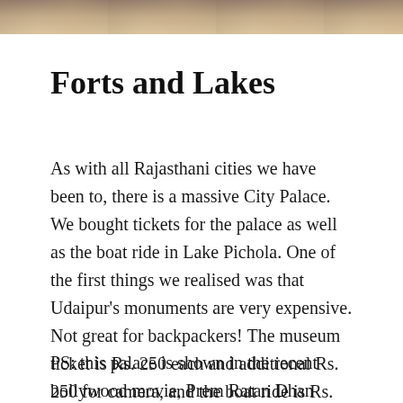[Figure (photo): Partial photograph at the top of the page, showing what appears to be a building or architectural scene, cropped to a narrow horizontal strip.]
Forts and Lakes
As with all Rajasthani cities we have been to, there is a massive City Palace. We bought tickets for the palace as well as the boat ride in Lake Pichola. One of the first things we realised was that Udaipur's monuments are very expensive. Not great for backpackers! The museum ticket is Rs. 250 each and additional Rs. 250 for camera, and the boat ride is Rs. 400 each.
PS: this palace is shown in the recent bollywood movie, Prem Ratan Dhan Payo.